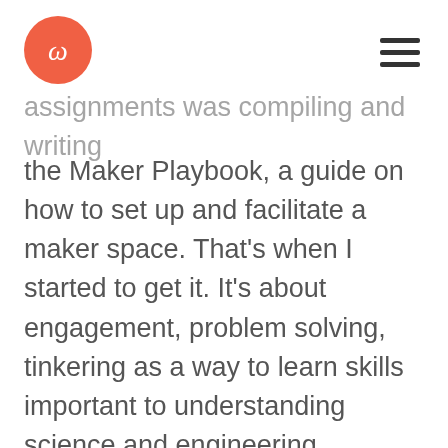[Logo] [hamburger menu]
assignments was compiling and writing the Maker Playbook, a guide on how to set up and facilitate a maker space. That’s when I started to get it. It’s about engagement, problem solving, tinkering as a way to learn skills important to understanding science and engineering. Technology offers this too in a different way, as apparent in Connected Worlds.